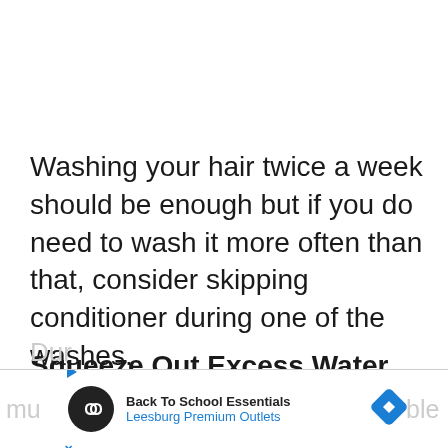Washing your hair twice a week should be enough but if you do need to wash it more often than that, consider skipping conditioner during one of the washes.
Squeeze Out Excess Water
Dur... mu... ble